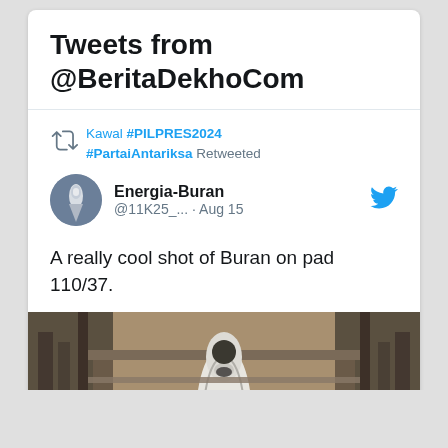Tweets from @BeritaDekhoCom
Kawal #PILPRES2024 #PartaiAntariksa Retweeted
Energia-Buran @11K25_... · Aug 15
A really cool shot of Buran on pad 110/37.
[Figure (photo): Aerial view of the Soviet Buran space shuttle on launch pad 110/37, surrounded by the launch structure gantry, viewed from above.]